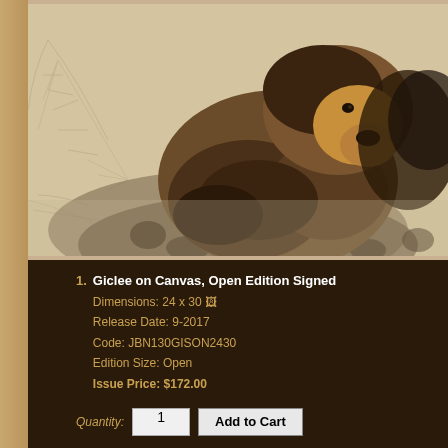[Figure (photo): A brown grizzly bear resting on an icy/snowy surface with fern or leaf impressions visible in the background. The bear is looking toward the viewer. The image has a sepia/warm tone. This appears to be an art print of a wildlife painting.]
1. Giclee on Canvas, Open Edition Signed
Dimensions: 24 x 30
Release Date: 9-2017
Code: JBN130GISON2430
Edition Size: Open
Issue Price: $172.00
Quantity: 1   Add to Cart